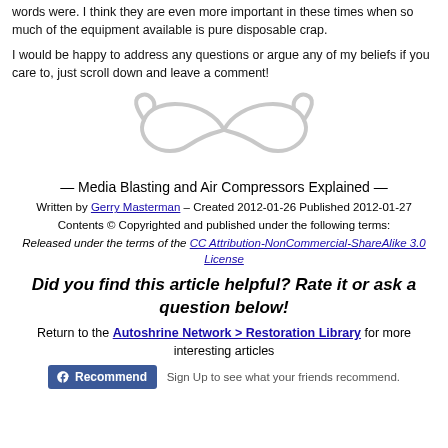words were. I think they are even more important in these times when so much of the equipment available is pure disposable crap.

I would be happy to address any questions or argue any of my beliefs if you care to, just scroll down and leave a comment!
[Figure (illustration): Decorative ornamental divider — a light grey infinity-knot / flourish swirl]
— Media Blasting and Air Compressors Explained —
Written by Gerry Masterman – Created 2012-01-26 Published 2012-01-27
Contents © Copyrighted and published under the following terms:
Released under the terms of the CC Attribution-NonCommercial-ShareAlike 3.0 License
Did you find this article helpful? Rate it or ask a question below!
Return to the Autoshrine Network > Restoration Library for more interesting articles
Recommend   Sign Up to see what your friends recommend.